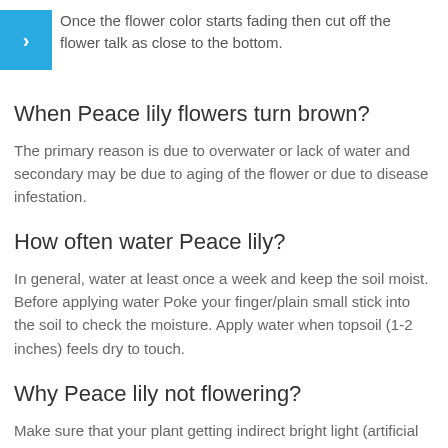Once the flower color starts fading then cut off the flower talk as close to the bottom.
When Peace lily flowers turn brown?
The primary reason is due to overwater or lack of water and secondary may be due to aging of the flower or due to disease infestation.
How often water Peace lily?
In general, water at least once a week and keep the soil moist. Before applying water Poke your finger/plain small stick into the soil to check the moisture. Apply water when topsoil (1-2 inches) feels dry to touch.
Why Peace lily not flowering?
Make sure that your plant getting indirect bright light (artificial bright light which is ideal for flowering and